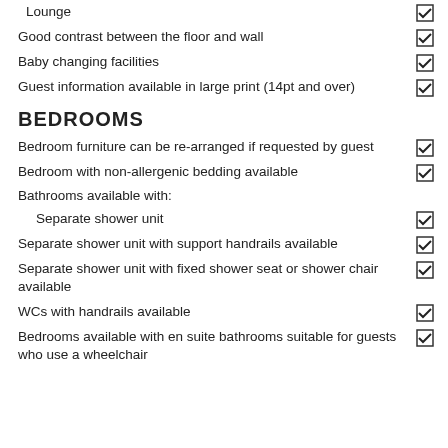Lounge ✓
Good contrast between the floor and wall ✓
Baby changing facilities ✓
Guest information available in large print (14pt and over) ✓
BEDROOMS
Bedroom furniture can be re-arranged if requested by guest ✓
Bedroom with non-allergenic bedding available ✓
Bathrooms available with:
Separate shower unit ✓
Separate shower unit with support handrails available ✓
Separate shower unit with fixed shower seat or shower chair available ✓
WCs with handrails available ✓
Bedrooms available with en suite bathrooms suitable for guests who use a wheelchair ✓